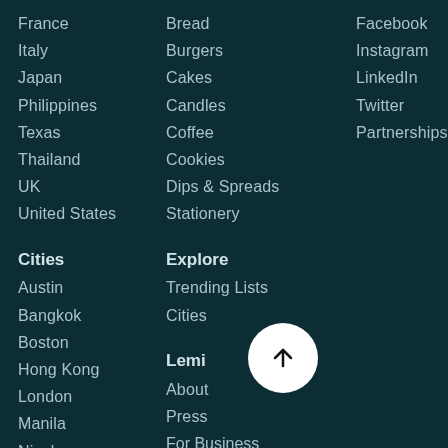France
Italy
Japan
Philippines
Texas
Thailand
UK
United States
Cities
Austin
Bangkok
Boston
Hong Kong
London
Manila
Niseko
San Antonio
Bread
Burgers
Cakes
Candles
Coffee
Cookies
Dips & Spreads
Stationery
Explore
Trending Lists
Cities
Lemi
About
Press
For Business
Blog
Facebook
Instagram
LinkedIn
Twitter
Partnerships